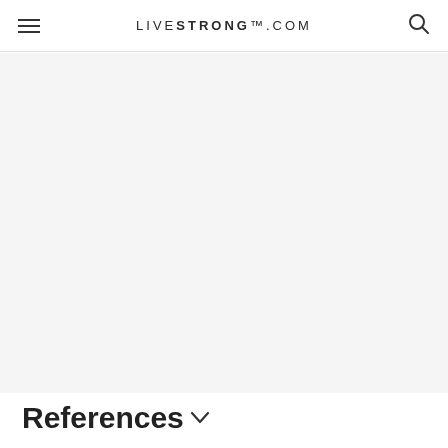LIVESTRONG.COM
[Figure (other): Advertisement placeholder area with light gray background]
References ∨